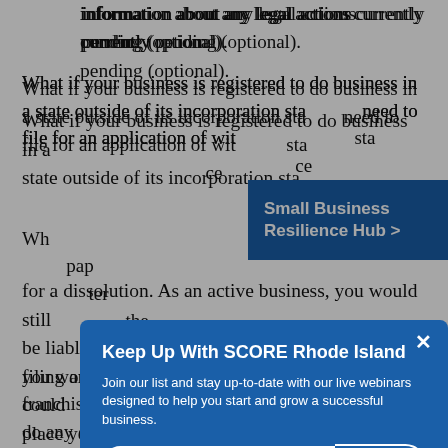information about any legal actions currently pending (optional).
What if your business is registered to do business in a state outside of its incorporation state, you need to file for an application of withdrawal in that state. This is a process that allows for the certificate of authority to be cancelled.
Small Business Resilience Hub >
Keep Up With SCORE Rhode Island
Join our list and stay up-to-date with our live webinars designed to help you start and grow a successful business.
email address
SUBMIT
for a dissolution. As an active business, you would still be liable for paying state fees, franchise taxes, and filing annual reports. Failure to do any of these could place your business into bad standing. It can cause